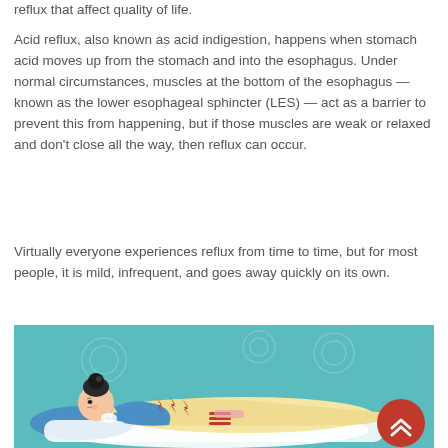reflux that affect quality of life.
Acid reflux, also known as acid indigestion, happens when stomach acid moves up from the stomach and into the esophagus. Under normal circumstances, muscles at the bottom of the esophagus — known as the lower esophageal sphincter (LES) — act as a barrier to prevent this from happening, but if those muscles are weak or relaxed and don't close all the way, then reflux can occur.
Virtually everyone experiences reflux from time to time, but for most people, it is mild, infrequent, and goes away quickly on its own.
[Figure (illustration): Illustration of a woman lying down on her side on a pillow with lightning bolt symbols near her chest/stomach area indicating acid reflux pain, on a teal/aqua background. A red circular button with upward chevrons is visible in the bottom right corner.]